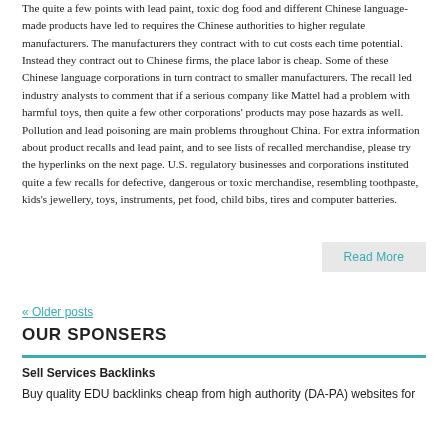The quite a few points with lead paint, toxic dog food and different Chinese language-made products have led to requires the Chinese authorities to higher regulate manufacturers. The manufacturers they contract with to cut costs each time potential. Instead they contract out to Chinese firms, the place labor is cheap. Some of these Chinese language corporations in turn contract to smaller manufacturers. The recall led industry analysts to comment that if a serious company like Mattel had a problem with harmful toys, then quite a few other corporations' products may pose hazards as well. Pollution and lead poisoning are main problems throughout China. For extra information about product recalls and lead paint, and to see lists of recalled merchandise, please try the hyperlinks on the next page. U.S. regulatory businesses and corporations instituted quite a few recalls for defective, dangerous or toxic merchandise, resembling toothpaste, kids's jewellery, toys, instruments, pet food, child bibs, tires and computer batteries.
Read More
« Older posts
OUR SPONSERS
Sell Services Backlinks
Buy quality EDU backlinks cheap from high authority (DA-PA) websites for